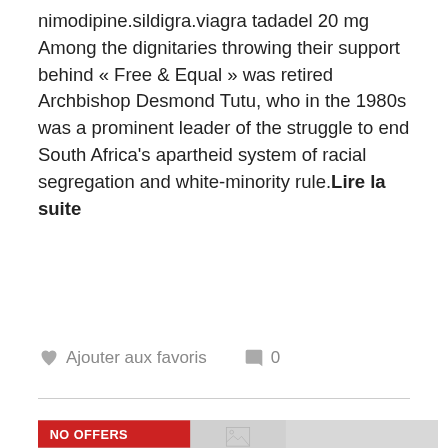nimodipine.sildigra.viagra tadadel 20 mg Among the dignitaries throwing their support behind « Free & Equal » was retired Archbishop Desmond Tutu, who in the 1980s was a prominent leader of the struggle to end South Africa's apartheid system of racial segregation and white-minority rule.Lire la suite
Ajouter aux favoris   0
[Figure (photo): Gray placeholder image block with NO OFFERS badge in red at top left, and a broken image icon centered in the gray area]